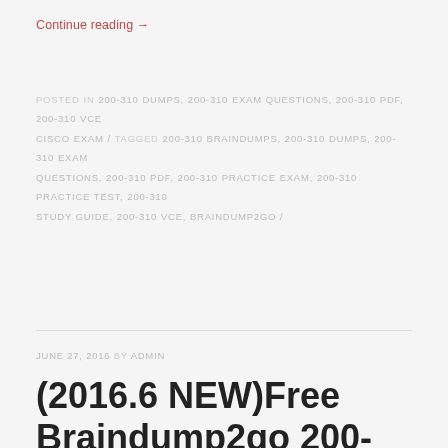Continue reading →
POSTED IN 200-310 DUMPS, 200-310 EXAM QUESTIONS, 200-310 PDF, 200-310 VCE CISCO EXAM / TAGGED 200-310 BRAINDUMPS, 200-310 DUMPS, 200-310 EXAM QUESTIONS, 200-310 PDF, 200-310 PRACTICE EXAM, 200-310 PRACTICE TEST, 200-310 STUDY GUIDE, 200-310 VCE, BRAINDUMP2GO /
JUNE 27, 2016 BY ADMIN
(2016.6 NEW)Free Braindump2go 200-310 Study Guide Free 277Q&As